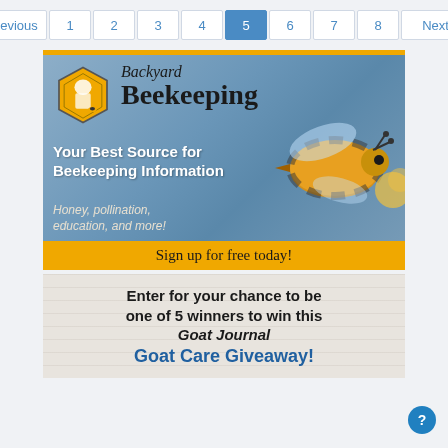Previous 1 2 3 4 5 6 7 8 Next
[Figure (advertisement): Backyard Beekeeping ad with hexagonal logo, bee image, tagline 'Your Best Source for Beekeeping Information', subtext 'Honey, pollination, education, and more!', and CTA 'Sign up for free today!']
[Figure (advertisement): Goat Journal Goat Care Giveaway ad: 'Enter for your chance to be one of 5 winners to win this Goat Journal Goat Care Giveaway!']